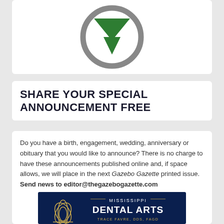[Figure (illustration): Circular gray ring with a green downward-pointing chevron/arrow shape in the center, on a white card background]
SHARE YOUR SPECIAL ANNOUNCEMENT FREE
Do you have a birth, engagement, wedding, anniversary or obituary that you would like to announce? There is no charge to have these announcements published online and, if space allows, we will place in the next Gazebo Gazette printed issue. Send news to editor@thegazebogazette.com
[Figure (logo): Mississippi Dental Arts advertisement with gold lotus flower logo on dark navy background, text reading MISSISSIPPI DENTAL ARTS and TRACE FAVRE, DDS, FAGD]